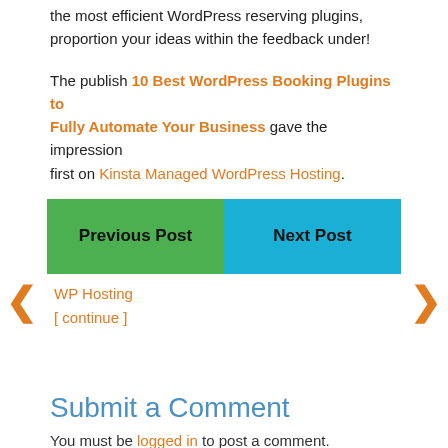the most efficient WordPress reserving plugins, proportion your ideas within the feedback under!
The publish 10 Best WordPress Booking Plugins to Fully Automate Your Business gave the impression first on Kinsta Managed WordPress Hosting.
[Figure (other): Navigation buttons: green 'Previous Post' button on the left and blue 'Next Post' button on the right, with orange chevron arrows on outer sides and links 'WP Hosting' and '[ continue ]' below]
Submit a Comment
You must be logged in to post a comment.